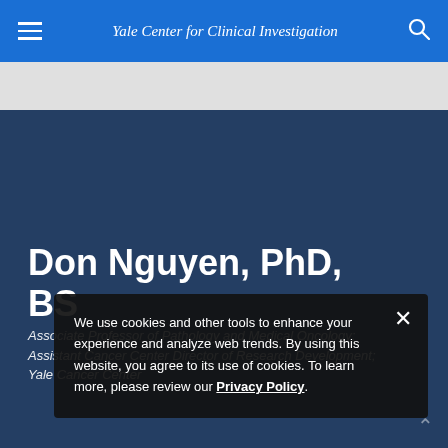Yale Center for Clinical Investigation
Don Nguyen, PhD, BS
Associate Professor of Pathology and Medical Oncology; Assistant Cancer Center Director of Research Development; Yale Cancer Center
We use cookies and other tools to enhance your experience and analyze web trends. By using this website, you agree to its use of cookies. To learn more, please review our Privacy Policy.